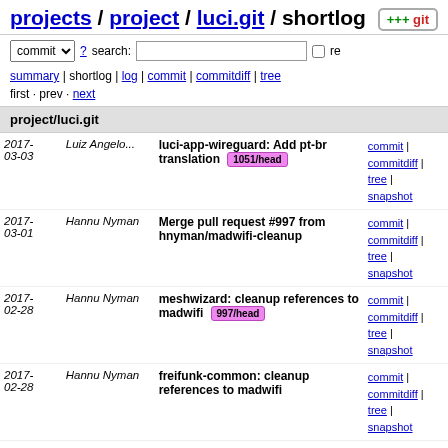projects / project / luci.git / shortlog
commit ? search: re
summary | shortlog | log | commit | commitdiff | tree
first · prev · next
project/luci.git
| Date | Author | Message | Links |
| --- | --- | --- | --- |
| 2017-03-03 | Luiz Angelo... | luci-app-wireguard: Add pt-br translation 1051/head | commit | commitdiff | tree | snapshot |
| 2017-03-01 | Hannu Nyman | Merge pull request #997 from hnyman/madwifi-cleanup | commit | commitdiff | tree | snapshot |
| 2017-02-28 | Hannu Nyman | meshwizard: cleanup references to madwifi 997/head | commit | commitdiff | tree | snapshot |
| 2017-02-28 | Hannu Nyman | freifunk-common: cleanup references to madwifi | commit | commitdiff | tree | snapshot |
| 2017-02-28 | Hannu Nyman | treewide: cleanup references to madwifi from LuCI | commit | commitdiff | tree | snapshot |
| 2017-02-28 | Hannu Nyman | Merge pull request #1043 from hnyman/ieee80211 | commit | commitdiff | tree | snapshot |
| 2017-02-28 | Hannu Nyman | luci-mod-admin-full: new hostapd functionality for... | commit | commitdiff | tree |